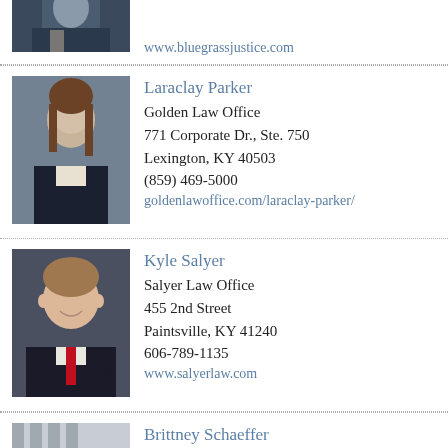[Figure (photo): Partial photo of a person in a dark suit, top portion cropped, showing torso area only]
www.bluegrassjustice.com
[Figure (photo): Professional headshot of Laraclay Parker, a woman with long brown hair wearing a dark blazer and white blouse]
Laraclay Parker
Golden Law Office
771 Corporate Dr., Ste. 750
Lexington, KY 40503
(859) 469-5000
goldenlawoffice.com/laraclay-parker/
[Figure (photo): Professional headshot of Kyle Salyer, a man with light brown hair wearing a dark suit and red tie, smiling]
Kyle Salyer
Salyer Law Office
455 2nd Street
Paintsville, KY 41240
606-789-1135
www.salyerlaw.com
[Figure (photo): Partial photo of Brittney Schaeffer, a woman with blonde hair, showing partial view]
Brittney Schaeffer
Johnson Law Firm
229 Main St